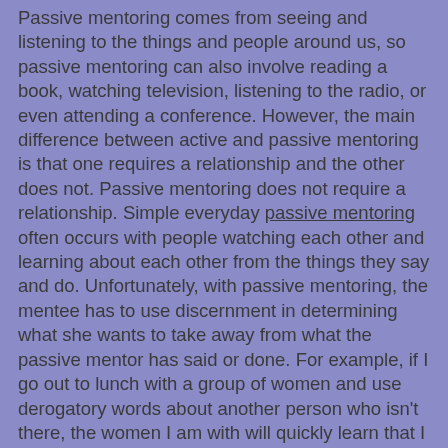Passive mentoring comes from seeing and listening to the things and people around us, so passive mentoring can also involve reading a book, watching television, listening to the radio, or even attending a conference. However, the main difference between active and passive mentoring is that one requires a relationship and the other does not. Passive mentoring does not require a relationship. Simple everyday passive mentoring often occurs with people watching each other and learning about each other from the things they say and do. Unfortunately, with passive mentoring, the mentee has to use discernment in determining what she wants to take away from what the passive mentor has said or done. For example, if I go out to lunch with a group of women and use derogatory words about another person who isn't there, the women I am with will quickly learn that I cannot be trusted. I can't be trusted, because I might say something derogatory about them behind their backs too. On the other hand, if I refuse to gossip about someone when others are doing so, the women listening will begin to realize that I can be trusted not to gossip about them. By listening to what I say or in this case what I don't say, I am setting a moral standard with my behavior that others may choose to emulate. However, the women at the luncheon table need to